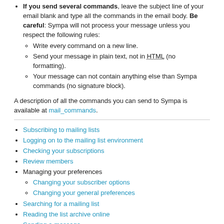If you send several commands, leave the subject line of your email blank and type all the commands in the email body. Be careful: Sympa will not process your message unless you respect the following rules:
Write every command on a new line.
Send your message in plain text, not in HTML (no formatting).
Your message can not contain anything else than Sympa commands (no signature block).
A description of all the commands you can send to Sympa is available at mail_commands.
Subscribing to mailing lists
Logging on to the mailing list environment
Checking your subscriptions
Review members
Managing your preferences
Changing your subscriber options
Changing your general preferences
Searching for a mailing list
Reading the list archive online
Sending a message
Using the shared document web space